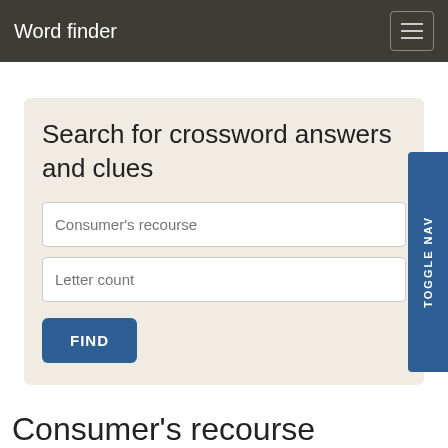Word finder
Search for crossword answers and clues
Consumer's recourse
Letter count
FIND
Consumer's recourse